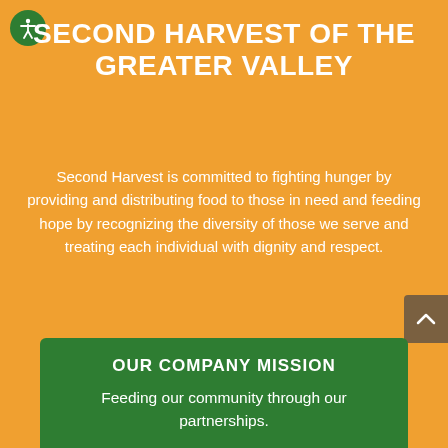[Figure (logo): Accessibility icon — white person figure in a green circle]
SECOND HARVEST OF THE GREATER VALLEY
Second Harvest is committed to fighting hunger by providing and distributing food to those in need and feeding hope by recognizing the diversity of those we serve and treating each individual with dignity and respect.
OUR COMPANY MISSION
Feeding our community through our partnerships.